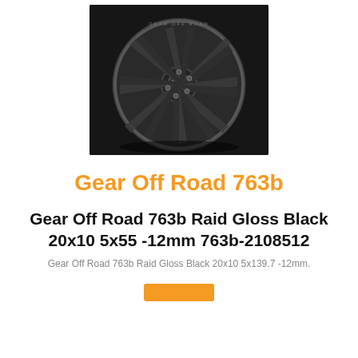[Figure (photo): A black off-road wheel (Gear Off Road 763b Raid Gloss Black) photographed against a dark background, showing a multi-spoke aggressive design.]
Gear Off Road 763b
Gear Off Road 763b Raid Gloss Black 20x10 5x55 -12mm 763b-2108512
Gear Off Road 763b Raid Gloss Black 20x10 5x139.7 -12mm.